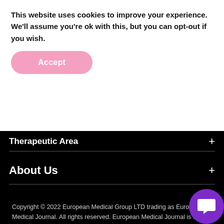This website uses cookies to improve your experience. We'll assume you're ok with this, but you can opt-out if you wish.
Accept
Therapeutic Area
About Us
[Figure (infographic): Social media icons: Twitter, Facebook, YouTube, LinkedIn]
Copyright © 2022 European Medical Group LTD trading as European Medical Journal. All rights reserved. European Medical Journal is for informational purposes and should not be considered medical advice, diagnosis or treatment recommendations.